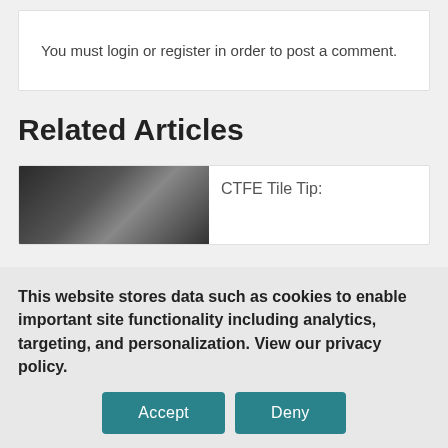You must login or register in order to post a comment.
Related Articles
[Figure (photo): Thumbnail image for a related article, dark/grayscale photo]
CTFE Tile Tip:
This website stores data such as cookies to enable important site functionality including analytics, targeting, and personalization. View our privacy policy.
Accept
Deny